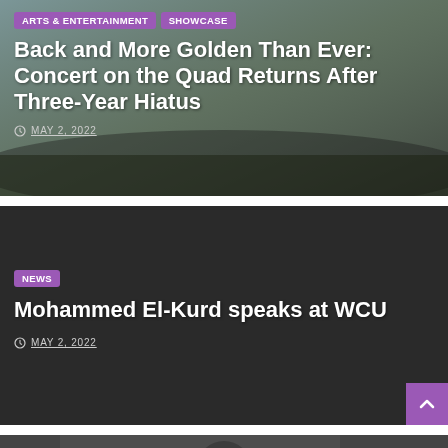[Figure (photo): Outdoor concert on a university quad with many students seated and a band performing, trees and buildings in background, dusk sky]
ARTS & ENTERTAINMENT  SHOWCASE
Back and More Golden Than Ever: Concert on the Quad Returns After Three-Year Hiatus
MAY 2, 2022
[Figure (photo): Dark background image for Mohammed El-Kurd news article]
NEWS
Mohammed El-Kurd speaks at WCU
MAY 2, 2022
[Figure (photo): Partial view of a speaker or figure at bottom of page, cropped]